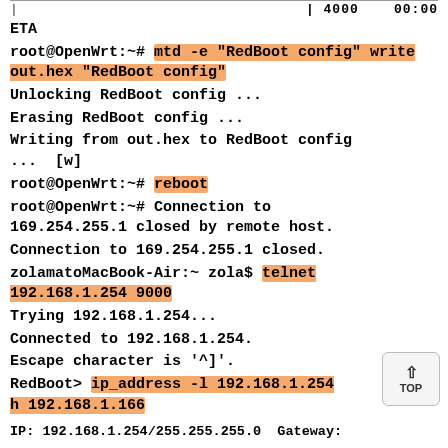| 4000  00:00 ETA
root@OpenWrt:~# mtd -e "RedBoot config" write out.hex "RedBoot config"
Unlocking RedBoot config ...
Erasing RedBoot config ...
Writing from out.hex to RedBoot config ...  [w]
root@OpenWrt:~# reboot
root@OpenWrt:~# Connection to 169.254.255.1 closed by remote host.
Connection to 169.254.255.1 closed.
zolamatoMacBook-Air:~ zola$ telnet 192.168.1.254 9000
Trying 192.168.1.254...
Connected to 192.168.1.254.
Escape character is '^]'.
RedBoot> ip_address -l 192.168.1.254 h 192.168.1.166
IP: 192.168.1.254/255.255.255.0  Gateway: